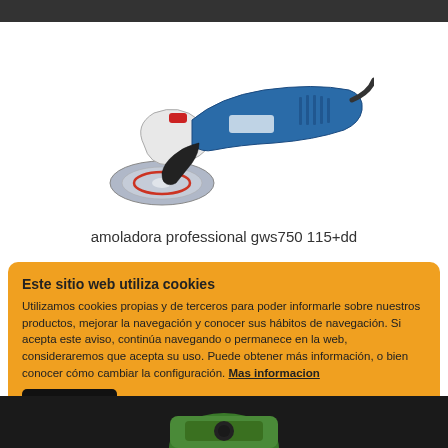[Figure (photo): Bosch angle grinder (amoladora) GWS750 115+dd in blue and white with cutting disc attached, professional power tool]
amoladora professional gws750 115+dd
Este sitio web utiliza cookies
Utilizamos cookies propias y de terceros para poder informarle sobre nuestros productos, mejorar la navegación y conocer sus hábitos de navegación. Si acepta este aviso, continúa navegando o permanece en la web, consideraremos que acepta su uso. Puede obtener más información, o bien conocer cómo cambiar la configuración. Mas informacion
Guardar
Cambiar ajustes
[Figure (photo): Partial view of green Bosch tool at the bottom of the page]